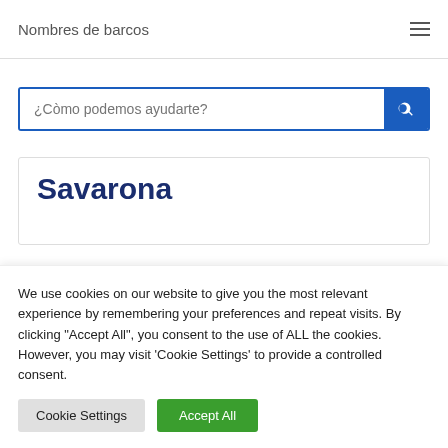Nombres de barcos
[Figure (screenshot): Search bar with placeholder text ¿Còmo podemos ayudarte? and a blue search button with magnifying glass icon]
Savarona
We use cookies on our website to give you the most relevant experience by remembering your preferences and repeat visits. By clicking "Accept All", you consent to the use of ALL the cookies. However, you may visit 'Cookie Settings' to provide a controlled consent.
Cookie Settings | Accept All